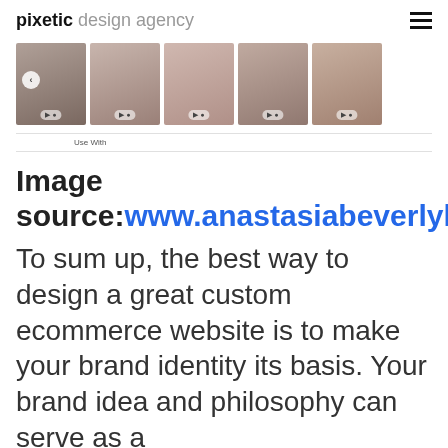pixetic design agency
[Figure (photo): A horizontal strip of 5 thumbnail photos showing close-up beauty/makeup images of women. The first thumbnail has a back navigation arrow button. Each thumbnail has a small icon overlay at the bottom.]
Use With
Image source: www.anastasiabeverlyhills.com
To sum up, the best way to design a great custom ecommerce website is to make your brand identity its basis. Your brand idea and philosophy can serve as a inspiration when choosing style, the... colors, or even fonts for your design. Of